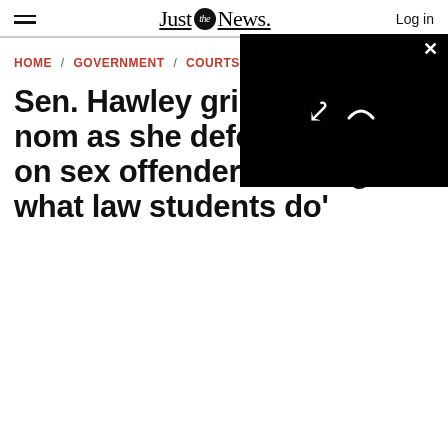Just the News. / Log in
[Figure (screenshot): Black video player overlay with loading spinner and close (X) button in top-right corner]
HOME / GOVERNMENT / COURTS & LAW
Sen. Hawley grills SCOTUS nom as she defends essay on sex offenders: 'Doing what law students do'